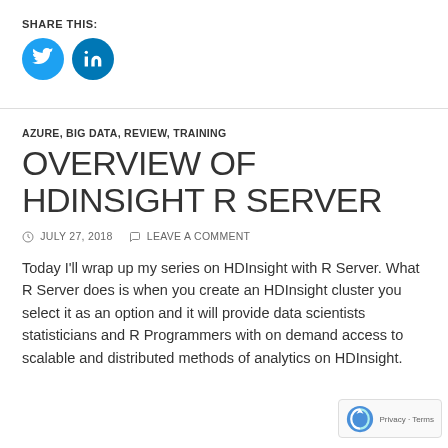SHARE THIS:
[Figure (other): Social share buttons: Twitter (blue circle with bird icon) and LinkedIn (blue circle with 'in' logo)]
AZURE, BIG DATA, REVIEW, TRAINING
OVERVIEW OF HDINSIGHT R SERVER
JULY 27, 2018   LEAVE A COMMENT
Today I'll wrap up my series on HDInsight with R Server. What R Server does is when you create an HDInsight cluster you select it as an option and it will provide data scientists statisticians and R Programmers with on demand access to scalable and distributed methods of analytics on HDInsight.